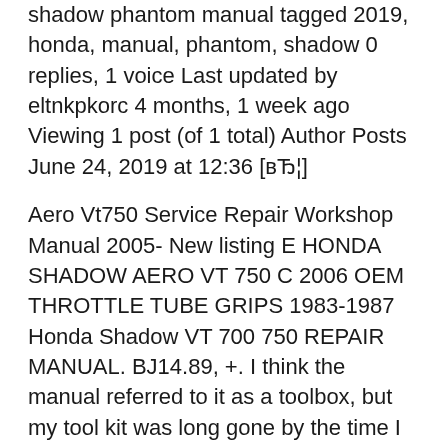shadow phantom manual tagged 2019, honda, manual, phantom, shadow 0 replies, 1 voice Last updated by eltnkpkorc 4 months, 1 week ago Viewing 1 post (of 1 total) Author Posts June 24, 2019 at 12:36 [вЂ¦]
Aero Vt750 Service Repair Workshop Manual 2005- New listing E HONDA SHADOW AERO VT 750 C 2006 OEM THROTTLE TUBE GRIPS 1983-1987 Honda Shadow VT 700 750 REPAIR MANUAL. BJ14.89, +. I think the manual referred to it as a toolbox, but my tool kit was long gone by the time I owned it Still have the same toolkit for my 1983 Honda Shadow VT750! honda 1998-2002 Honda Shadow Aero 1100